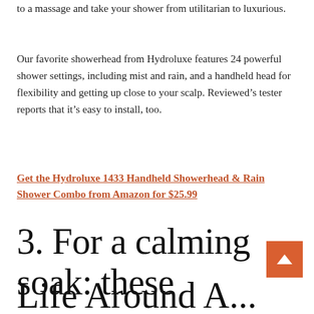to a massage and take your shower from utilitarian to luxurious.
Our favorite showerhead from Hydroluxe features 24 powerful shower settings, including mist and rain, and a handheld head for flexibility and getting up close to your scalp. Reviewed’s tester reports that it’s easy to install, too.
Get the Hydroluxe 1433 Handheld Showerhead & Rain Shower Combo from Amazon for $25.99
3. For a calming soak: these
Life Around A...